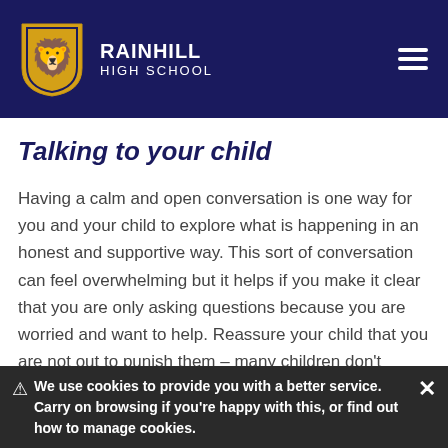RAINHILL HIGH SCHOOL
Talking to your child
Having a calm and open conversation is one way for you and your child to explore what is happening in an honest and supportive way. This sort of conversation can feel overwhelming but it helps if you make it clear that you are only asking questions because you are worried and want to help. Reassure your child that you are not out to punish them – many children don't report concerns because they fear that
We use cookies to provide you with a better service. Carry on browsing if you're happy with this, or find out how to manage cookies.